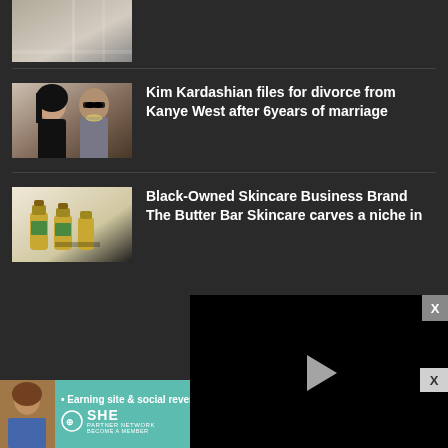[Figure (photo): Cropped photo of two people at top, partially visible]
[Figure (photo): Photo of Kim Kardashian and Kanye West]
Kim Kardashian files for divorce from Kanye West after 6 years of marriage
[Figure (photo): Photo of skincare bottles from The Butter Bar Skincare]
Black-Owned Skincare Business Brand The Butter Bar Skincare carves a niche in
[Figure (screenshot): Embedded video player with play button, progress bar at 60%, timestamp 13:52, and controls for mute, captions, grid, settings, fullscreen]
[Figure (infographic): SHE Partner Network advertisement banner - Earning site & social revenue, LEARN MORE, BECOME A MEMBER]